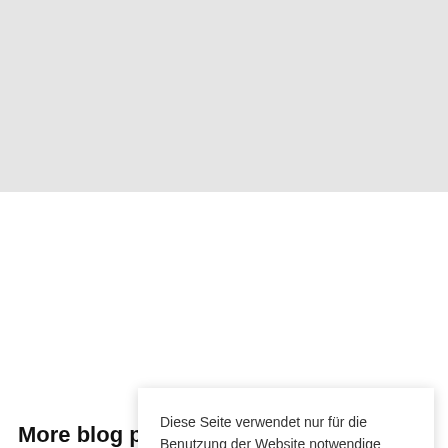[Figure (other): Gray banner/image placeholder at top of page]
More blog p
At vero eos
Uncategorized
Diese Seite verwendet nur für die Benutzung der Website notwendige Cookies. Mit dem Click auf "Akzeptieren" stimmen Sie der Verwendung der Cookies zu. Weitere Hinweise erhalten Sie in der Datenschutzerklärung.
Akzeptieren
Lorem ipsum dolor sit